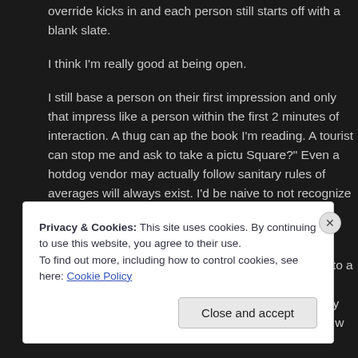override kicks in and each person still starts off with a blank slate.
I think I'm really good at being open.
I still base a person on their first impression and only that impress like a person within the first 2 minutes of interaction. A thug can ap the book I'm reading. A tourist can stop me and ask to take a pictu Square?" Even a hotdog vendor may actually follow sanitary rules of averages will always exist. I'd be naive to not recognize them.
I'd also be close-minded to think that the law was definite with no variations of people can we all fall into a stereotype? Of course no they don't determine my social activities. They don't repell or attra alone. They don't even cross my mind until you piss me off and I w
Privacy & Cookies: This site uses cookies. By continuing to use this website, you agree to their use.
To find out more, including how to control cookies, see here: Cookie Policy
Close and accept